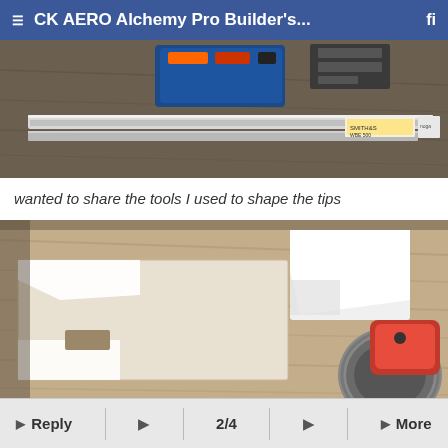CK AERO Alchemy Pro Builder's...
[Figure (photo): Overhead view of a workbench with a long aluminum straightedge/ruler bar and a tool box in the background, on a weathered wood surface.]
wanted to share the tools I used to shape the tips
[Figure (photo): Close-up of a workshop table showing balsa or foam wing tip pieces being shaped, with a sanding disk tool visible on the right side.]
Reply  2/4  More